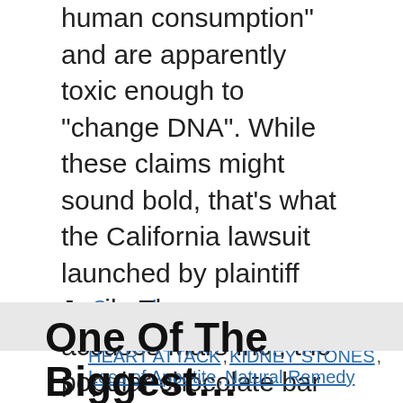human consumption" and are apparently toxic enough to “change DNA”. While these claims might sound bold, that’s what the California lawsuit launched by plaintiff Jenile Thames accuses Mars Inc., the popular chocolate bar brand and multinational manufacturer of Skittles and many other …
Read more
General
Cancer, Detox, Diabetes, HEART ATTACK, KIDNEY STONES, Loss of Appetite, Natural Remedy
One Of The Biggest